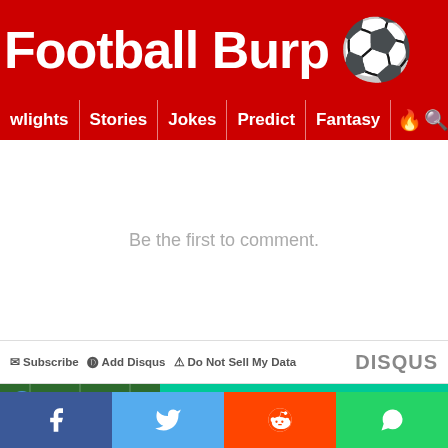Football Burp 🏈
wlights | Stories | Jokes | Predict | Fantasy 🔥 🔍
Be the first to comment.
Subscribe | Add Disqus | Do Not Sell My Data | DISQUS
Fantasy Premier League tips for the next Gameweek are available now
[Figure (infographic): Football tactics board on green pitch background with tie icon]
Social share bar with Facebook, Twitter, Reddit, WhatsApp